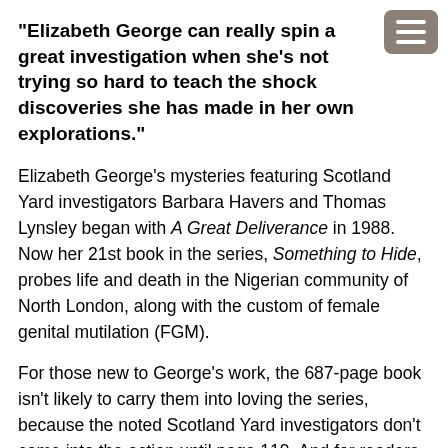“Elizabeth George can really spin a great investigation when she’s not trying so hard to teach the shock discoveries she has made in her own explorations.”
Elizabeth George’s mysteries featuring Scotland Yard investigators Barbara Havers and Thomas Lynsley began with A Great Deliverance in 1988. Now her 21st book in the series, Something to Hide, probes life and death in the Nigerian community of North London, along with the custom of female genital mutilation (FGM).
For those new to George’s work, the 687-page book isn’t likely to carry them into loving the series, because the noted Scotland Yard investigators don’t come into the action until page 119. And for readers who treasure Lynsley and Havers, that’s also a problem—chapters cascade about people who are in emotional and physical pain in the midst